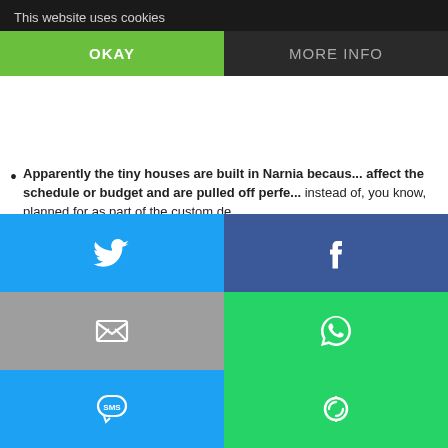because I want a second loft or whatever that I saw in o... find someone else to build what I want.
This website uses cookies
OKAY    MORE INFO
Apparently the tiny houses are built in Narnia because... affect the schedule or budget and are pulled off perfe... instead of, you know, planned for as part of the custom de...
They never discuss where or how the family can legal... talk about how road worthy they are, or how many of them... as an oversized load. Never. Ever. Or situations where bu... researched and built and tried to do everything right only t... Being Told I Can't Legally Live Here.
[Figure (infographic): Social sharing buttons grid: Twitter (blue), Facebook (dark blue), Email/envelope (grey), WhatsApp (green), SMS (blue), ShareThis (green). Partial text visible on right side.]